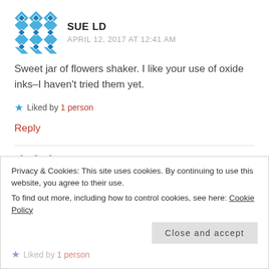[Figure (illustration): Blue geometric quilt-pattern avatar for Sue LD]
SUE LD
APRIL 12, 2017 AT 12:41 AM
Sweet jar of flowers shaker. I like your use of oxide inks–I haven't tried them yet.
★ Liked by 1 person
Reply
[Figure (illustration): Blue/purple geometric quilt-pattern avatar for Kirsty Vittetoe]
KIRSTY VITTETOE
Privacy & Cookies: This site uses cookies. By continuing to use this website, you agree to their use.
To find out more, including how to control cookies, see here: Cookie Policy
Close and accept
★ Liked by 1 person